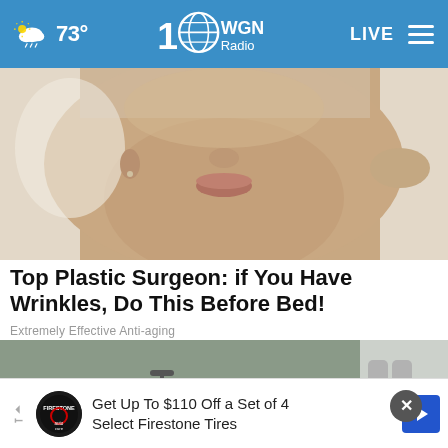73° WGN Radio LIVE
[Figure (photo): Close-up of a woman's lower face and chin area with a clear plastic wrap or mask being pulled away, skin-care or anti-aging context]
Top Plastic Surgeon: if You Have Wrinkles, Do This Before Bed!
Extremely Effective Anti-aging
[Figure (photo): Outdoor photo showing people near a motorcycle or motorbike on a tiled surface, close-up angle from below]
[Figure (other): Advertisement banner: Get Up To $110 Off a Set of 4 Select Firestone Tires, with Firestone Auto Care logo]